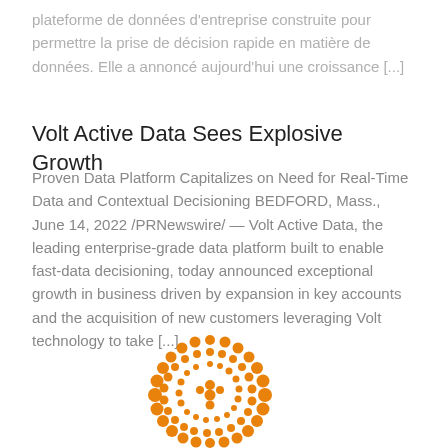plateforme de données d'entreprise construite pour permettre la prise de décision rapide en matière de données. Elle a annoncé aujourd'hui une croissance [...]
Volt Active Data Sees Explosive Growth
Proven Data Platform Capitalizes on Need for Real-Time Data and Contextual Decisioning BEDFORD, Mass., June 14, 2022 /PRNewswire/ — Volt Active Data, the leading enterprise-grade data platform built to enable fast-data decisioning, today announced exceptional growth in business driven by expansion in key accounts and the acquisition of new customers leveraging Volt technology to take [...]
[Figure (logo): Volt Active Data orange circular dot logo]